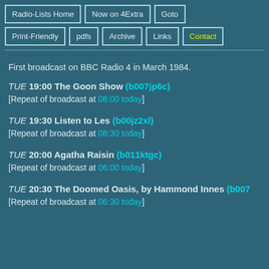Radio-Lists Home | Now on 4Extra | Goto | Print-Friendly | pdfs | Archive | Links | Contact
First broadcast on BBC Radio 4 in March 1984.
TUE 19:00 The Goon Show (b007jp6c)
[Repeat of broadcast at 08:00 today]
TUE 19:30 Listen to Les (b00jz2xl)
[Repeat of broadcast at 08:30 today]
TUE 20:00 Agatha Raisin (b011ktgc)
[Repeat of broadcast at 06:00 today]
TUE 20:30 The Doomed Oasis, by Hammond Innes (b007...
[Repeat of broadcast at 06:30 today]